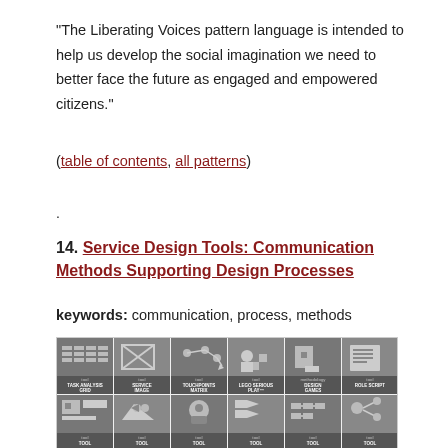“The Liberating Voices pattern language is intended to help us develop the social imagination we need to better face the future as engaged and empowered citizens.”
(table of contents, all patterns)
.
14. Service Design Tools: Communication Methods Supporting Design Processes
keywords: communication, process, methods
[Figure (illustration): Grid of service design tool icons including Task Analysis Grid, Service Image, Touchpoints Matrix, Lego Serious Play, Design Games, Role Script, and more in a 2-row layout]